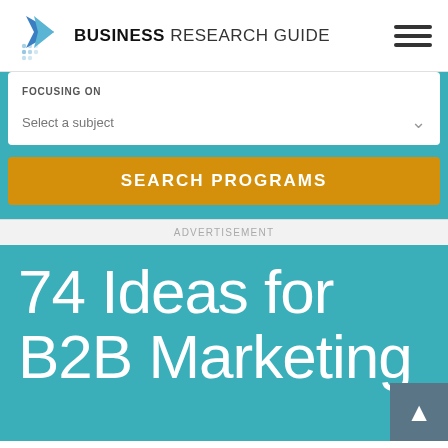BUSINESS RESEARCH GUIDE
[Figure (screenshot): Form widget with FOCUSING ON label, Select a subject dropdown, and SEARCH PROGRAMS button on teal background]
ADVERTISEMENT
74 Ideas for B2B Marketing